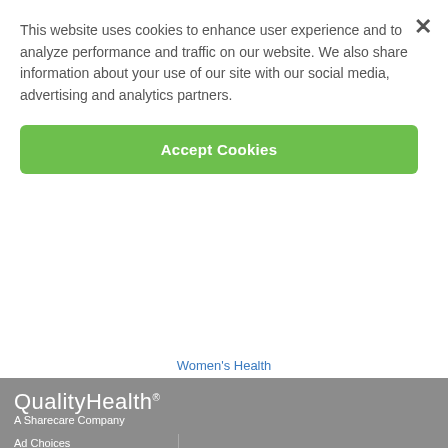This website uses cookies to enhance user experience and to analyze performance and traffic on our website. We also share information about your use of our site with our social media, advertising and analytics partners.
Accept Cookies
Women's Health
QualityHealth® A Sharecare Company
Ad Choices
Advertise with Us
Affiliate Program
Contact Us
Contributors
Cookie Policy
Do Not Sell My Personal Data
Privacy Policy
Terms
©2022 QualityHealth.com. All rights reserved. The material on the QualityHealth Web site is for informational purposes